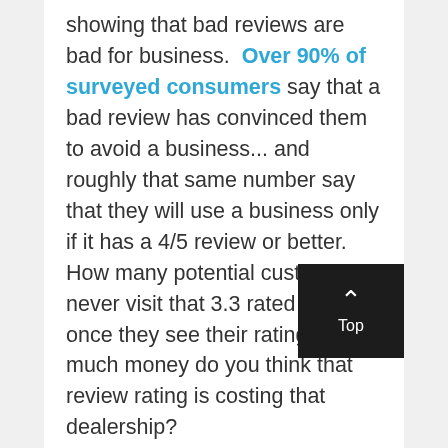showing that bad reviews are bad for business. Over 90% of surveyed consumers say that a bad review has convinced them to avoid a business... and roughly that same number say that they will use a business only if it has a 4/5 review or better. How many potential customers never visit that 3.3 rated dealer once they see their rating? How much money do you think that review rating is costing that dealership?
Bad Reviews are